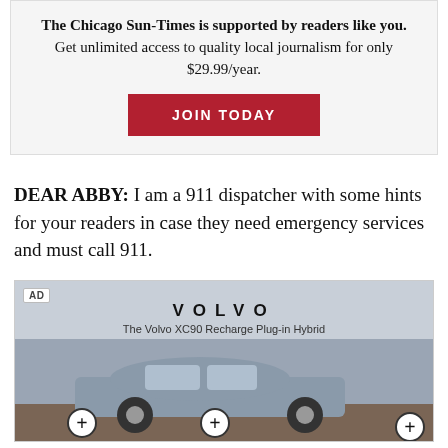The Chicago Sun-Times is supported by readers like you. Get unlimited access to quality local journalism for only $29.99/year.
JOIN TODAY
DEAR ABBY: I am a 911 dispatcher with some hints for your readers in case they need emergency services and must call 911.
[Figure (photo): Advertisement for Volvo XC90 Recharge Plug-in Hybrid showing the vehicle with interactive plus-circle hotspot overlays, on a grey background.]